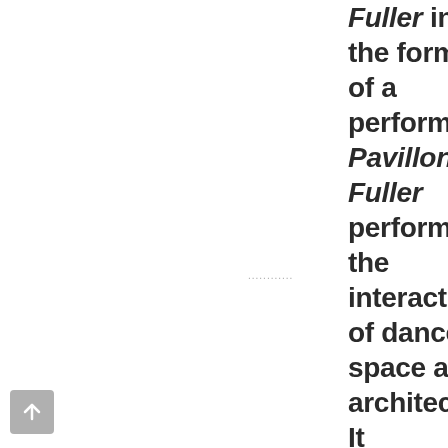Fuller in the form of a performance. Pavillon Fuller performs the interaction of dance, space and architecture. It investigates their relationship through a simple